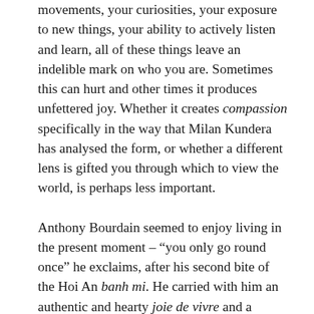movements, your curiosities, your exposure to new things, your ability to actively listen and learn, all of these things leave an indelible mark on who you are. Sometimes this can hurt and other times it produces unfettered joy. Whether it creates compassion specifically in the way that Milan Kundera has analysed the form, or whether a different lens is gifted you through which to view the world, is perhaps less important.
Anthony Bourdain seemed to enjoy living in the present moment – "you only go round once" he exclaims, after his second bite of the Hoi An banh mi. He carried with him an authentic and hearty joie de vivre and a charmingly blunt and down-to-earth swagger, which